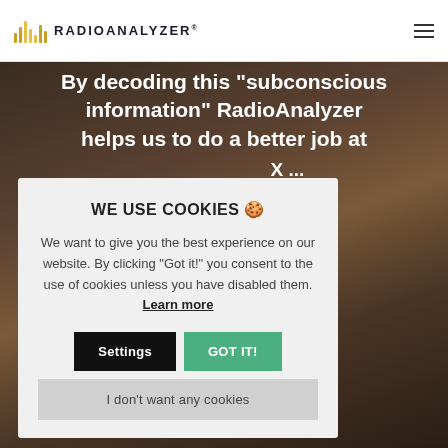RADIOANALYZER®
By decoding this “subconscious information” RadioAnalyzer helps us to do a better job at ... X ... teners (X)
WE USE COOKIES 🍪

We want to give you the best experience on our website. By clicking "Got it!" you consent to the use of cookies unless you have disabled them. Learn more
Settings | GOT IT! | I don't want any cookies